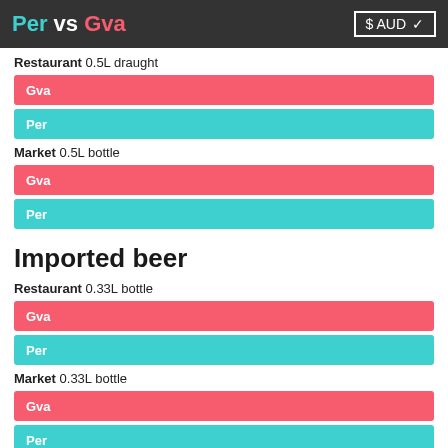Per vs Gva  $ AUD
Restaurant 0.5L draught
[Figure (bar-chart): Restaurant 0.5L draught]
Market 0.5L bottle
[Figure (bar-chart): Market 0.5L bottle]
Imported beer
Restaurant 0.33L bottle
[Figure (bar-chart): Restaurant 0.33L bottle]
Market 0.33L bottle
[Figure (bar-chart): Market 0.33L bottle]